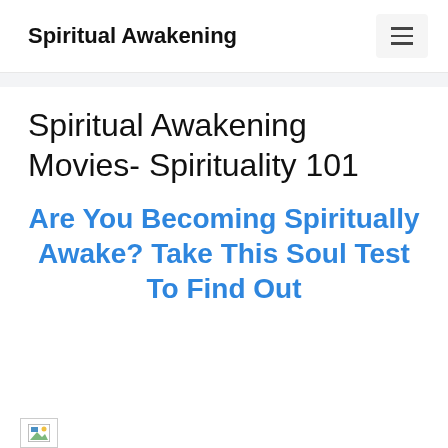Spiritual Awakening
Spiritual Awakening Movies- Spirituality 101
Are You Becoming Spiritually Awake? Take This Soul Test To Find Out
[Figure (other): Broken image placeholder icon at bottom of page]